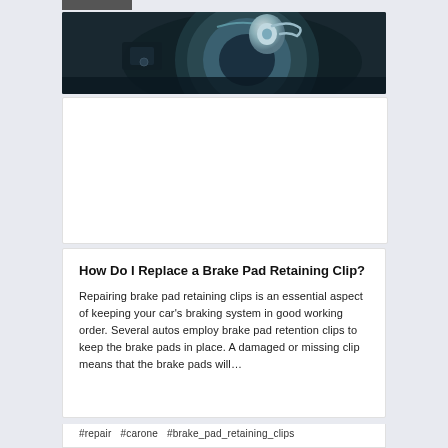[Figure (photo): Close-up photo of a brake disc/rotor with a metal clip, dark blue-grey tones, automotive brake system]
[Figure (other): White advertisement/placeholder card area]
How Do I Replace a Brake Pad Retaining Clip?
Repairing brake pad retaining clips is an essential aspect of keeping your car's braking system in good working order. Several autos employ brake pad retention clips to keep the brake pads in place. A damaged or missing clip means that the brake pads will…
#repair  #carone  #brake_pad_retaining_clips